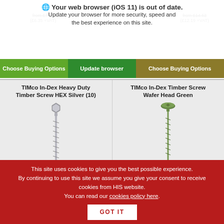Your web browser (iOS 11) is out of date. Update your browser for more security, speed and the best experience on this site.
Choose Buying Options | Update browser | Choose Buying Options
TIMco In-Dex Heavy Duty Timber Screw HEX Silver (10)
[Figure (photo): Silver hex head heavy duty timber screw, long with spiral threads]
From £9.37 (£7.81 +VAT)
TIMco In-Dex Timber Screw Wafer Head Green
[Figure (photo): Green wafer head timber screw, long with spiral threads]
From £3.66 (£3.05 +VAT)
This site uses cookies to give you the best possible experience. By continuing to use this site we assume you give your consent to receive cookies from HIS website. You can read our cookies policy here.
GOT IT